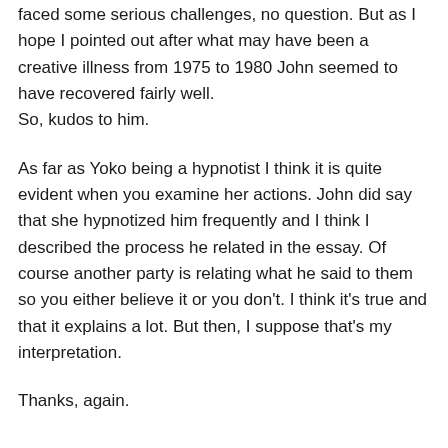faced some serious challenges, no question. But as I hope I pointed out after what may have been a creative illness from 1975 to 1980 John seemed to have recovered fairly well. So, kudos to him.
As far as Yoko being a hypnotist I think it is quite evident when you examine her actions. John did say that she hypnotized him frequently and I think I described the process he related in the essay. Of course another party is relating what he said to them so you either believe it or you don't. I think it's true and that it explains a lot. But then, I suppose that's my interpretation.
Thanks, again.